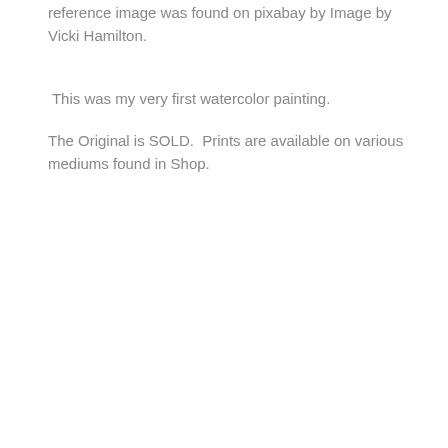reference image was found on pixabay by Image by Vicki Hamilton.
This was my very first watercolor painting.
The Original is SOLD.  Prints are available on various mediums found in Shop.